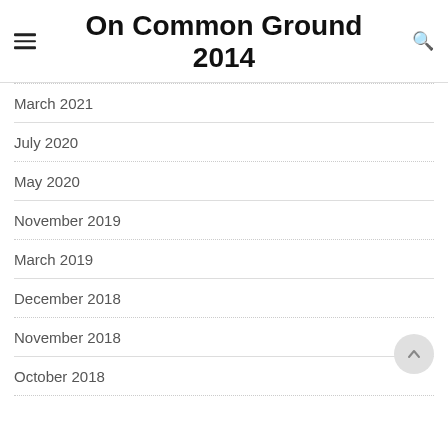On Common Ground 2014
March 2021
July 2020
May 2020
November 2019
March 2019
December 2018
November 2018
October 2018